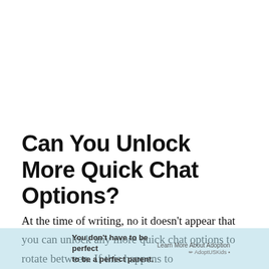Can You Unlock More Quick Chat Options?
At the time of writing, no it doesn't appear that you can unlock any more quick chat options to rotate between. If this happens to cha... be...